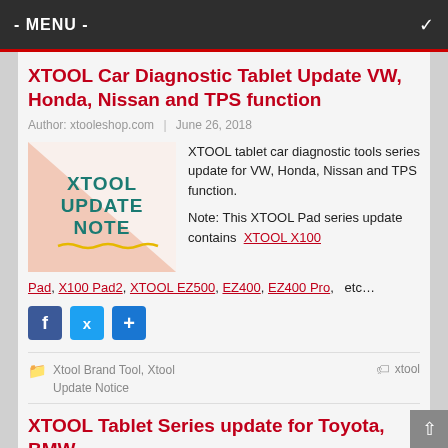- MENU -
XTOOL Car Diagnostic Tablet Update VW, Honda, Nissan and TPS function
Author: xtooleshop.com | June 26, 2018
[Figure (illustration): XTOOL Update Note graphic with peach triangle background and teal text]
XTOOL tablet car diagnostic tools series update for VW, Honda, Nissan and TPS function.

Note: This XTOOL Pad series update contains XTOOL X100 Pad, X100 Pad2, XTOOL EZ500, EZ400, EZ400 Pro, etc…
Social share icons: Facebook, Twitter, Share
Xtool Brand Tool, Xtool Update Notice | xtool
XTOOL Tablet Series update for Toyota, BMW,